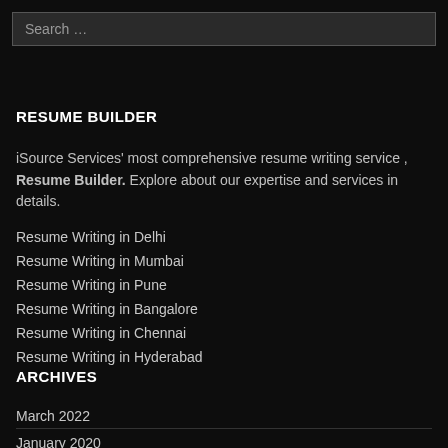Search …
RESUME BUILDER
iSource Services' most comprehensive resume writing service , Resume Builder. Explore about our expertise and services in details.
Resume Writing in Delhi
Resume Writing in Mumbai
Resume Writing in Pune
Resume Writing in Bangalore
Resume Writing in Chennai
Resume Writing in Hyderabad
ARCHIVES
March 2022
January 2020